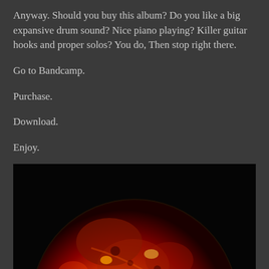Anyway. Should you buy this album? Do you like a big expansive drum sound? Nice piano playing? Killer guitar hooks and proper solos? You do, Then stop right there.
Go to Bandcamp.
Purchase.
Download.
Enjoy.
[Figure (photo): A glowing reddish-orange moon or planet surface against a black background, showing craters and fiery coloration]